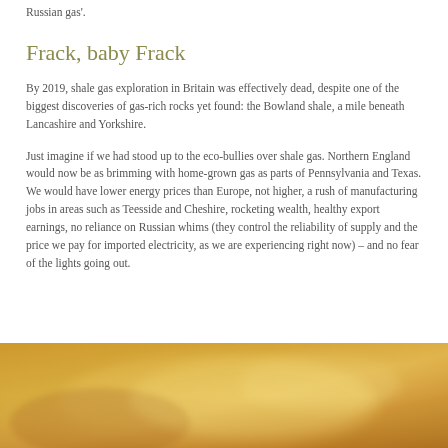Russian gas'.
Frack, baby Frack
By 2019, shale gas exploration in Britain was effectively dead, despite one of the biggest discoveries of gas-rich rocks yet found: the Bowland shale, a mile beneath Lancashire and Yorkshire.
Just imagine if we had stood up to the eco-bullies over shale gas. Northern England would now be as brimming with home-grown gas as parts of Pennsylvania and Texas. We would have lower energy prices than Europe, not higher, a rush of manufacturing jobs in areas such as Teesside and Cheshire, rocketing wealth, healthy export earnings, no reliance on Russian whims (they control the reliability of supply and the price we pay for imported electricity, as we are experiencing right now) – and no fear of the lights going out.
[Figure (photo): A blurred golden-toned landscape photograph, warm amber and orange tones suggesting a sunset or industrial glow.]